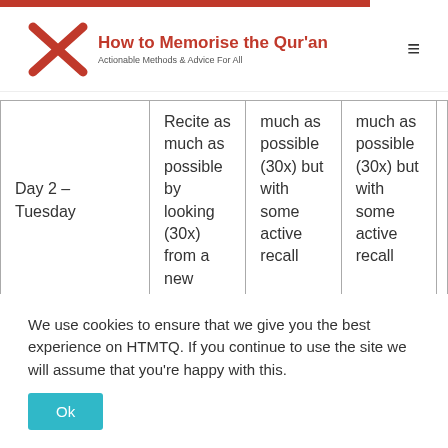How to Memorise the Qur'an — Actionable Methods & Advice For All
|  | Col1 | Col2 | Col3 | Col4 |
| --- | --- | --- | --- | --- |
| Day 2 – Tuesday | Recite as much as possible by looking (30x) from a new | much as possible (30x) but with some active recall | much as possible (30x) but with some active recall |  |
We use cookies to ensure that we give you the best experience on HTMTQ. If you continue to use the site we will assume that you're happy with this.